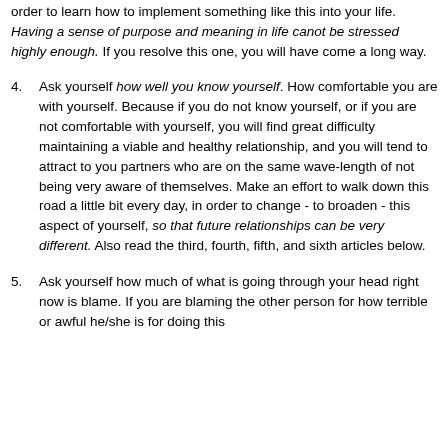but don't know what it might be, please read the second article below in order to learn how to implement something like this into your life. Having a sense of purpose and meaning in life canot be stressed highly enough. If you resolve this one, you will have come a long way.
4. Ask yourself how well you know yourself. How comfortable you are with yourself. Because if you do not know yourself, or if you are not comfortable with yourself, you will find great difficulty maintaining a viable and healthy relationship, and you will tend to attract to you partners who are on the same wave-length of not being very aware of themselves. Make an effort to walk down this road a little bit every day, in order to change - to broaden - this aspect of yourself, so that future relationships can be very different. Also read the third, fourth, fifth, and sixth articles below.
5. Ask yourself how much of what is going through your head right now is blame. If you are blaming the other person for how terrible or awful he/she is for doing this